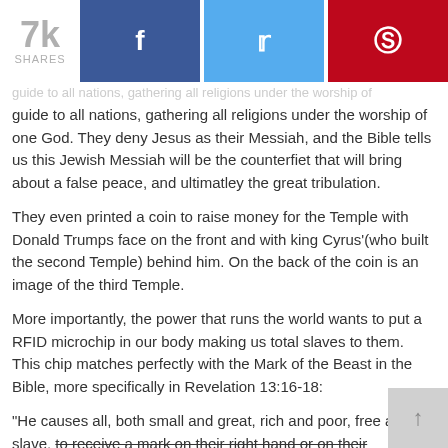7k SHARES [Facebook] [Twitter] [Pinterest]
guide to all nations, gathering all religions under the worship of one God. They deny Jesus as their Messiah, and the Bible tells us this Jewish Messiah will be the counterfiet that will bring about a false peace, and ultimatley the great tribulation.
They even printed a coin to raise money for the Temple with Donald Trumps face on the front and with king Cyrus'(who built the second Temple) behind him. On the back of the coin is an image of the third Temple.
More importantly, the power that runs the world wants to put a RFID microchip in our body making us total slaves to them. This chip matches perfectly with the Mark of the Beast in the Bible, more specifically in Revelation 13:16-18:
“He causes all, both small and great, rich and poor, free and slave, to receive a mark on their right hand or on their foreheads, and that no one may buy or sell except one who has the mark or the name of the beast, or the number of his name.